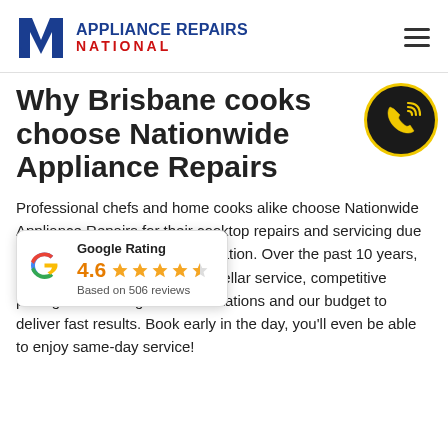[Figure (logo): Appliance Repairs National logo with blue N icon and text]
Why Brisbane cooks choose Nationwide Appliance Repairs
Professional chefs and home cooks alike choose Nationwide Appliance Repairs for their cooktop repairs and servicing due to our team's exceptional reputation. Over the past 10 years, we've become known for our stellar service, competitive pricing and [offering free consultations and] our budget to deliver fa[st results. Book early in the day, you'll] even be able to enjoy same-day service!
[Figure (infographic): Google Rating popup showing 4.6 stars based on 506 reviews]